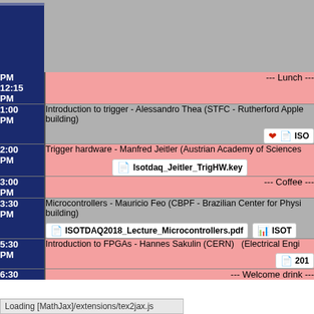| Time | Event |
| --- | --- |
| PM 12:15 PM | --- Lunch --- |
| 1:00 PM | Introduction to trigger - Alessandro Thea (STFC - Rutherford Apple building)  [ISO attachment] |
| 2:00 PM | Trigger hardware - Manfred Jeitler (Austrian Academy of Sciences  [Isotdaq_Jeitler_TrigHW.key] |
| 3:00 PM | --- Coffee --- |
| 3:30 PM | Microcontrollers - Mauricio Feo (CBPF - Brazilian Center for Physi building)  [ISOTDAQ2018_Lecture_Microcontrollers.pdf]  [ISOT attachment] |
| 5:30 PM | Introduction to FPGAs - Hannes Sakulin (CERN)  (Electrical Engi  [201 attachment] |
| 6:30 | --- Welcome drink --- |
Loading [MathJax]/extensions/tex2jax.js